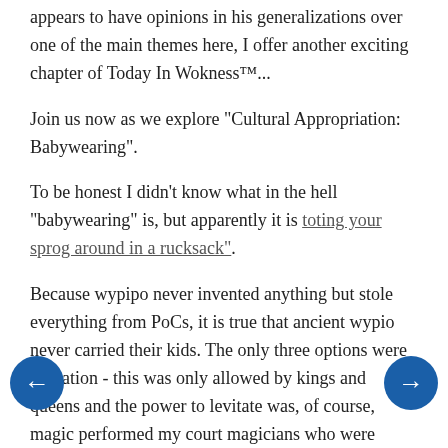appears to have opinions in his generalizations over one of the main themes here, I offer another exciting chapter of Today In Wokness™...
Join us now as we explore "Cultural Appropriation: Babywearing".
To be honest I didn't know what in the hell "babywearing" is, but apparently it is toting your sprog around in a rucksack".
Because wypipo never invented anything but stole everything from PoCs, it is true that ancient wypio never carried their kids. The only three options were levitation - this was only allowed by kings and queens and the power to levitate was, of course, magic performed my court magicians who were PoCs. The middle aristocracy used prams made of gold, silver, and ermine, made and pushed by PoC servants. The average peasant just tied a rope to the kid and dragged it like a sack of potatoes.